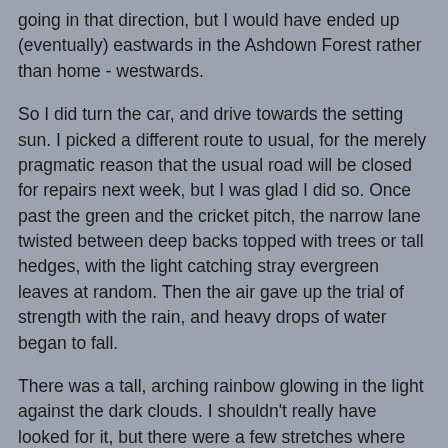going in that direction, but I would have ended up (eventually) eastwards in the Ashdown Forest rather than home - westwards.
So I did turn the car, and drive towards the setting sun. I picked a different route to usual, for the merely pragmatic reason that the usual road will be closed for repairs next week, but I was glad I did so. Once past the green and the cricket pitch, the narrow lane twisted between deep backs topped with trees or tall hedges, with the light catching stray evergreen leaves at random. Then the air gave up the trial of strength with the rain, and heavy drops of water began to fall.
There was a tall, arching rainbow glowing in the light against the dark clouds. I shouldn't really have looked for it, but there were a few stretches where the road was long enough and empty enough and going in the right direction for me to glance out across the glistening fields.
Yeah - waxing lyrical and all that, but it was something out of the ordinary, something to hold on to.